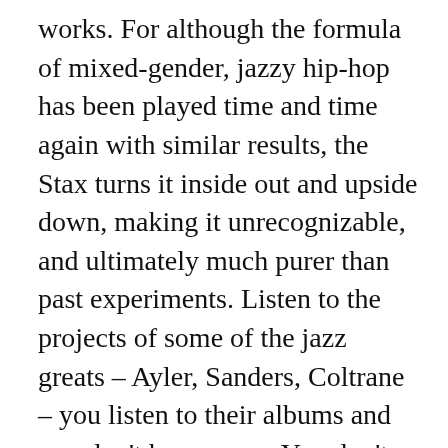works. For although the formula of mixed-gender, jazzy hip-hop has been played time and time again with similar results, the Stax turns it inside out and upside down, making it unrecognizable, and ultimately much purer than past experiments. Listen to the projects of some of the jazz greats – Ayler, Sanders, Coltrane – you listen to their albums and you don't hear songs. You don't get anything that structured. You get impressions. You get feelings, you get swept away by pure emotion.
With Black Stax's music, you are left in